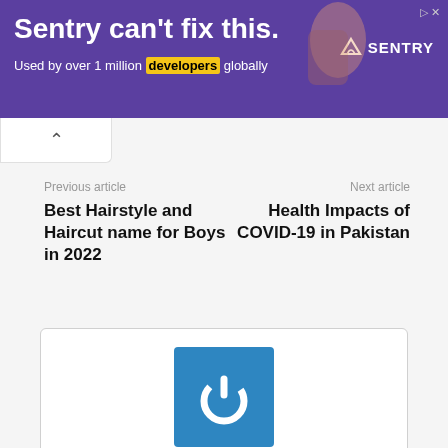[Figure (other): Purple advertisement banner: 'Sentry can't fix this. Used by over 1 million developers globally' with Sentry logo]
Previous article
Best Hairstyle and Haircut name for Boys in 2022
Next article
Health Impacts of COVID-19 in Pakistan
[Figure (illustration): Author profile box with blue square avatar containing white power button icon, and author name Muqaddas Iqbal below]
Muqaddas Iqbal